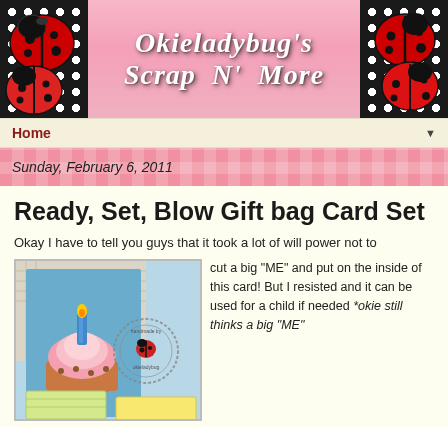[Figure (illustration): Okieladybug's Scrap N More blog header banner with ladybug decorations on black polka dot sides and pink checkered background in center with cursive white text]
Home ▼
Sunday, February 6, 2011
Ready, Set, Blow Gift bag Card Set
Okay I have to tell you guys that it took a lot of will power not to cut a big "ME" and put on the inside of this card! But I resisted and it can be used for a child if needed *okie still thinks a big "ME"
[Figure (photo): Photo of handmade birthday card set with cupcake design and handmade by ladybug stamp]